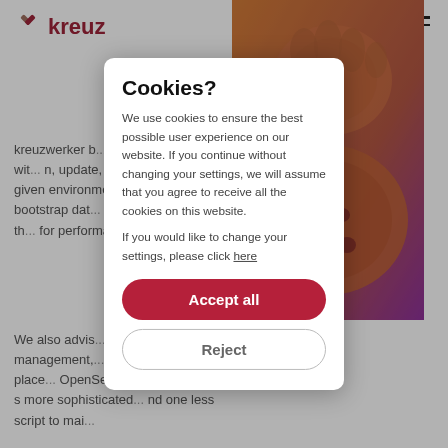kreuz...
[Figure (photo): Cookie image with orange/purple duotone color overlay showing chocolate chip cookies]
kreuzwerker b... ent's engineers wit... n, update, and teardown... in a given environment. ... function to bootstrap dat... n S3, automating th... for performance.
We also advis... ntion management,... ne-brew script in place... OpenSearch feature Index ... s more sophisticated... nd one less script to mai...
Indexing a...
We tackled th... ewing the index set up f... rding strategy with the team for their index-heavy use case.
[Figure (screenshot): Cookie consent modal dialog with title 'Cookies?', descriptive text about cookie usage, 'Accept all' button in red and 'Reject' button in white]
Cookies?
We use cookies to ensure the best possible user experience on our website. If you continue without changing your settings, we will assume that you agree to receive all the cookies on this website.
If you would like to change your settings, please click here